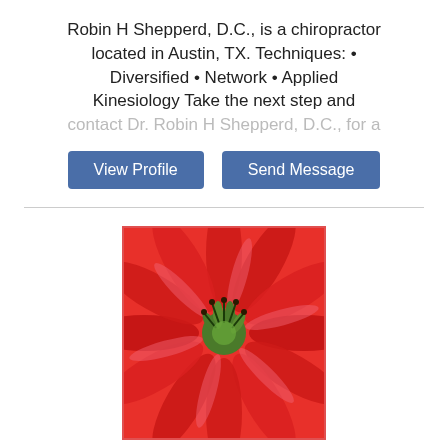Robin H Shepperd, D.C., is a chiropractor located in Austin, TX. Techniques: • Diversified • Network • Applied Kinesiology Take the next step and contact Dr. Robin H Shepperd, D.C., for a
[Figure (other): Two buttons side by side: 'View Profile' (blue) and 'Send Message' (blue)]
[Figure (photo): Close-up photo of a red flower with green center stamens, petals radiating outward]
Lisa Hastings, D.C.
Chiropractor
Austin, TX 78704
2.4 miles away
Chiropractor